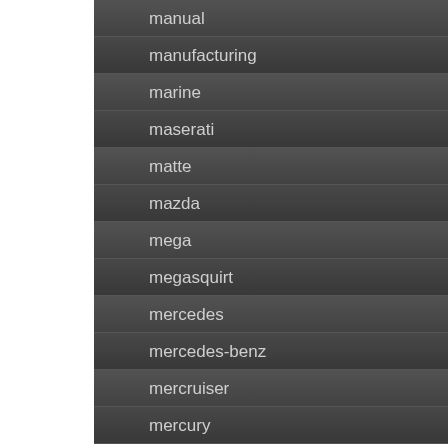manual
manufacturing
marine
maserati
matte
mazda
mega
megasquirt
mercedes
mercedes-benz
mercruiser
mercury